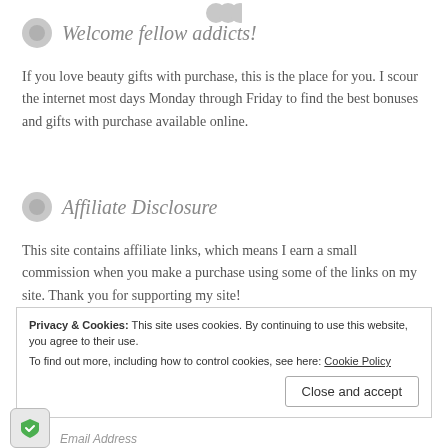[Figure (illustration): Three overlapping grey circle icons at the top center of the page]
Welcome fellow addicts!
If you love beauty gifts with purchase, this is the place for you. I scour the internet most days Monday through Friday to find the best bonuses and gifts with purchase available online.
Affiliate Disclosure
This site contains affiliate links, which means I earn a small commission when you make a purchase using some of the links on my site. Thank you for supporting my site!
Privacy & Cookies: This site uses cookies. By continuing to use this website, you agree to their use.
To find out more, including how to control cookies, see here: Cookie Policy
Close and accept
Email Address